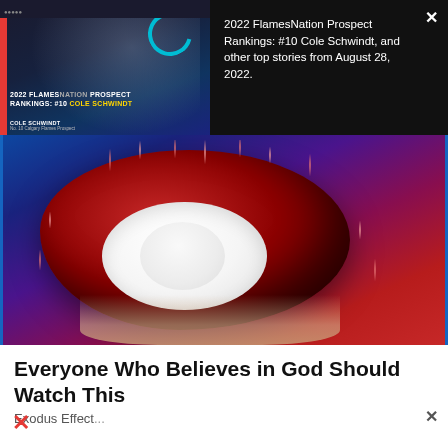[Figure (screenshot): Dark banner with hockey video thumbnail on left showing player with text '2022 FLAMESNATION PROSPECT RANKINGS: #10 COLE SCHWINDT' and player name bar. Right side shows article title text on dark background.]
2022 FlamesNation Prospect Rankings: #10 Cole Schwindt, and other top stories from August 28, 2022.
[Figure (photo): Close-up photo of a rambutan fruit being held in a hand, showing the red spiky exterior and white flesh exposed in the center, with green grass background.]
Everyone Who Believes in God Should Watch This
Exodus Effect...